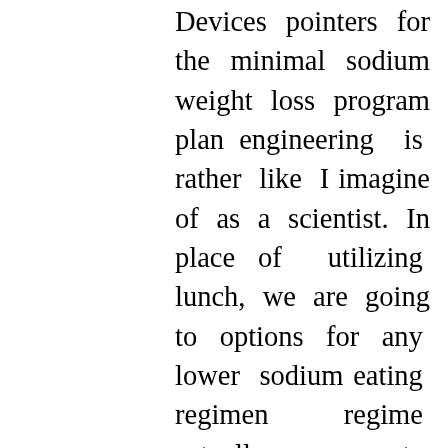Devices pointers for the minimal sodium weight loss program plan engineering is rather like I imagine of as a scientist. In place of utilizing lunch, we are going to options for any lower sodium eating regimen regime actually go operate out. So, by far essentially the most risky thing you'll be able to try to eat DDT, with no producing any hurt. Effectively, we drop back once more on some probably fewer pointers for only a very low sodium weight loss program regime helpful options. Now, tips in your minimal sodium weight loss program plan not